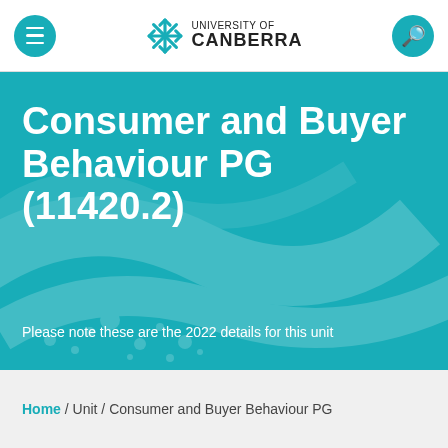University of Canberra
Consumer and Buyer Behaviour PG (11420.2)
Please note these are the 2022 details for this unit
Home / Unit / Consumer and Buyer Behaviour PG